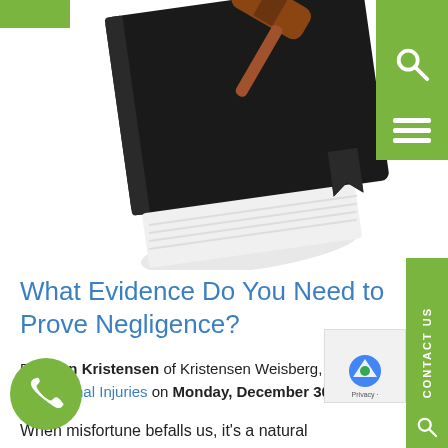[Figure (photo): Close-up photo of a black law book or book with a wooden judge's gavel resting on top, white pages visible at the bottom edge, on a white background.]
What Evidence Do You Need to Prove Negligence?
By John Kristensen of Kristensen Weisberg, LLP posted in Personal Injuries on Monday, December 30, 2019.
When misfortune befalls us, it's a natural